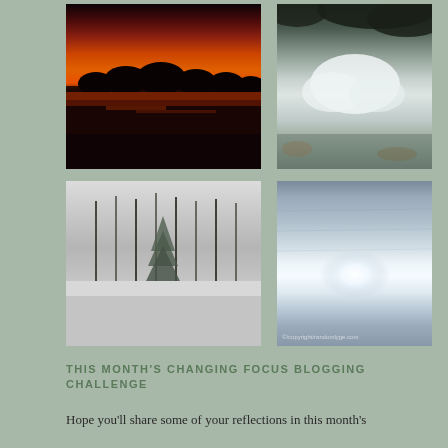[Figure (photo): Top-left: A dramatic sunset over a lake with vivid red, orange, and purple sky reflected in the water below, silhouetted trees along the horizon.]
[Figure (photo): Top-right: Clouds and tree branches reflected in still water, shot looking down at the reflection; blue-grey tones with white clouds and dark foliage.]
[Figure (photo): Bottom-left: A black and white winter scene with snow-covered ground and bare trees reflected in a pond or lake.]
[Figure (photo): Bottom-right: Ice or water surface with bright light reflection, blue-grey tones. Watermark reads: copyright/randomlyge.com]
THIS MONTH'S CHANGING FOCUS BLOGGING CHALLENGE
Hope you'll share some of your reflections in this month's